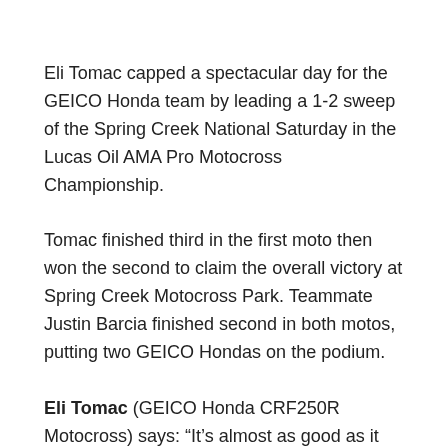Eli Tomac capped a spectacular day for the GEICO Honda team by leading a 1-2 sweep of the Spring Creek National Saturday in the Lucas Oil AMA Pro Motocross Championship.
Tomac finished third in the first moto then won the second to claim the overall victory at Spring Creek Motocross Park. Teammate Justin Barcia finished second in both motos, putting two GEICO Hondas on the podium.
Eli Tomac (GEICO Honda CRF250R Motocross) says: “It’s almost as good as it gets. It’s cool to see us both up there.”
Will Hahn finished sixth overall, while rookie Justin Bogle ended up a strong eighth in his first race back from knee surgery.